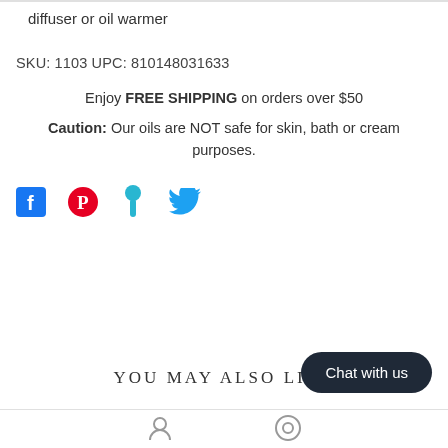diffuser or oil warmer
SKU: 1103 UPC: 810148031633
Enjoy FREE SHIPPING on orders over $50
Caution: Our oils are NOT safe for skin, bath or cream purposes.
[Figure (other): Social share icons: Facebook, Pinterest, Fancy, Twitter]
YOU MAY ALSO LIKE
Chat with us
[Figure (other): Footer navigation icons (partial, cropped)]